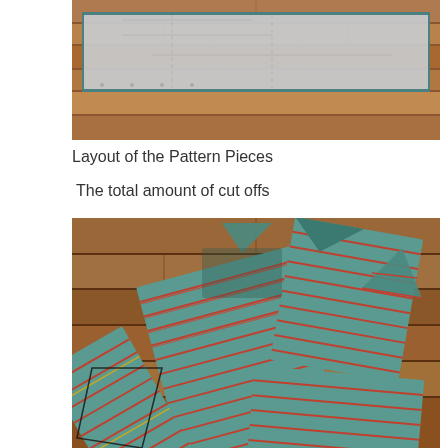[Figure (photo): Top-down view of fabric pattern pieces laid out flat on a wooden floor, showing paper pattern with teal/gray fabric pieces arranged for cutting]
Layout of the Pattern Pieces
The total amount of cut offs
[Figure (photo): Overhead view of cut fabric pieces in teal/green with red stripes scattered on a wooden floor, showing the cut-off remnants after pattern cutting]